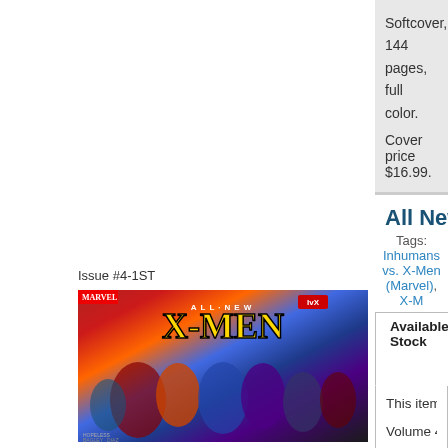Softcover, 144 pages, full color.
Cover price $16.99.
Issue #4-1ST
[Figure (illustration): Comic book cover for All New X-Men TPB showing multiple superhero characters with the X-Men logo]
All New X-Men TPB (2016-2017 Marvel
Tags: Inhumans vs. X-Men (Marvel), X-M...
Available Stock
Add to want list
This item is not in stock at MyComicShop. If yo... when it becomes available.
Volume 4 - 1st printing. "IvX!" Collects All New...
Written by Dennis Hopeless, Sina Grace, Rex... Diaz, Cory Smith, Andrea Broccardo, Ken Lash...
Since the discovery that the Terrigen Mist - the... X-Men and Inhumans have been locked in a co... point, the X-Men are spurred into action to ens...
For Jean Grey, that means taking out the Inhu...